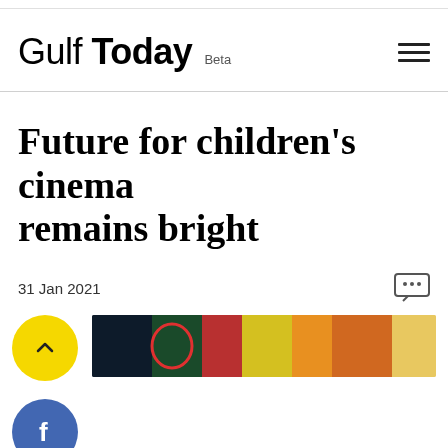Gulf Today Beta
Future for children's cinema remains bright
31 Jan 2021
[Figure (photo): Partial view of a colorful children's cinema scene with bright colors including green, red, yellow and orange elements]
[Figure (other): Yellow circular scroll-to-top button with upward chevron arrow]
[Figure (other): Blue circular Facebook share button with letter f]